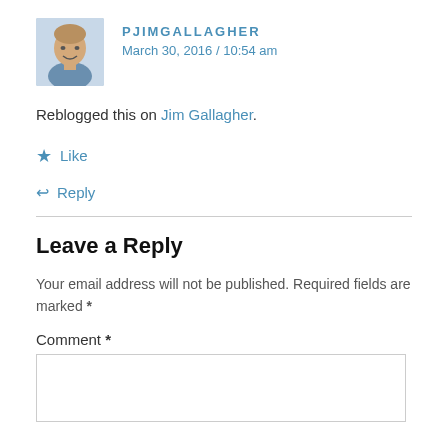[Figure (photo): Avatar photo of a man with short hair wearing a blue/grey shirt, square thumbnail]
PJIMGALLAGHER
March 30, 2016 / 10:54 am
Reblogged this on Jim Gallagher.
★ Like
↩ Reply
Leave a Reply
Your email address will not be published. Required fields are marked *
Comment *